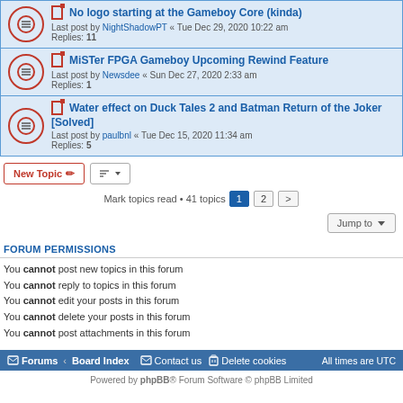No logo starting at the Gameboy Core (kinda) — Last post by NightShadowPT « Tue Dec 29, 2020 10:22 am — Replies: 11
MiSTer FPGA Gameboy Upcoming Rewind Feature — Last post by Newsdee « Sun Dec 27, 2020 2:33 am — Replies: 1
Water effect on Duck Tales 2 and Batman Return of the Joker [Solved] — Last post by paulbnl « Tue Dec 15, 2020 11:34 am — Replies: 5
New Topic | Sort | Mark topics read • 41 topics | 1 | 2 | > | Jump to
FORUM PERMISSIONS
You cannot post new topics in this forum
You cannot reply to topics in this forum
You cannot edit your posts in this forum
You cannot delete your posts in this forum
You cannot post attachments in this forum
Forums · Board Index   Contact us   Delete cookies   All times are UTC
Powered by phpBB® Forum Software © phpBB Limited